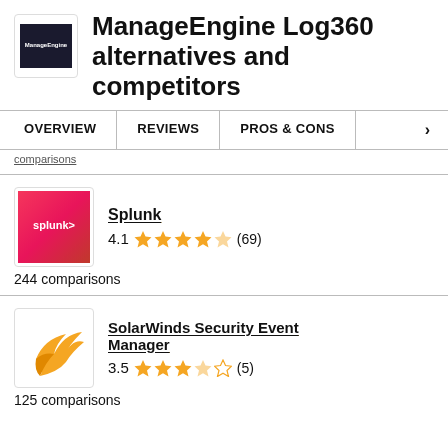ManageEngine Log360 alternatives and competitors
OVERVIEW  REVIEWS  PROS & CONS
comparisons
Splunk
4.1 (69)
244 comparisons
SolarWinds Security Event Manager
3.5 (5)
125 comparisons